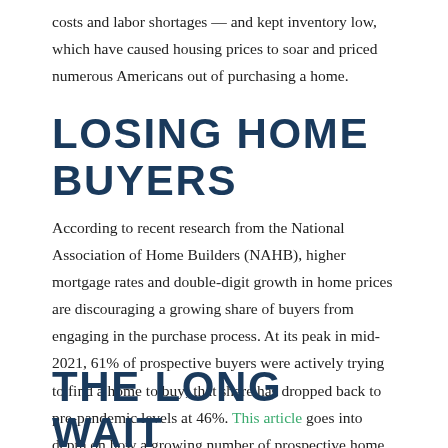costs and labor shortages — and kept inventory low, which have caused housing prices to soar and priced numerous Americans out of purchasing a home.
LOSING HOME BUYERS
According to recent research from the National Association of Home Builders (NAHB), higher mortgage rates and double-digit growth in home prices are discouraging a growing share of buyers from engaging in the purchase process. At its peak in mid-2021, 61% of prospective buyers were actively trying to find a home to buy; that share has dropped back to pre-pandemic levels at 46%. This article goes into depth on how a growing number of prospective home buyers aren't moving past the planning stage.
THE LONG WAIT